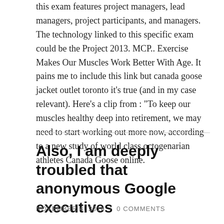this exam features project managers, lead managers, project participants, and managers. The technology linked to this specific exam could be the Project 2013. MCP.. Exercise Makes Our Muscles Work Better With Age. It pains me to include this link but canada goose jacket outlet toronto it’s true (and in my case relevant). Here’s a clip from : “To keep our muscles healthy deep into retirement, we may need to start working out more now, according to a new study of world class octogenarian athletes Canada Goose online.
Also, I am deeply troubled that anonymous Google executives
NOVEMBER 4, 2014 / 0 COMMENTS